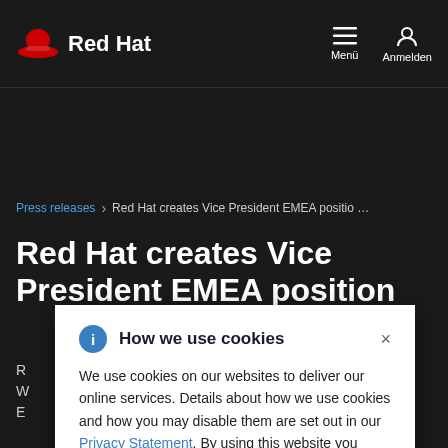Red Hat — Menü / Anmelden
Press releases > Red Hat creates Vice President EMEA positio …
Red Hat creates Vice President EMEA position
R … Red Hat, W … rowth in E …
[Figure (screenshot): Cookie consent dialog overlay: 'How we use cookies' with info icon and close button. Body text: 'We use cookies on our websites to deliver our online services. Details about how we use cookies and how you may disable them are set out in our Privacy Statement. By using this website you agree to our use of cookies.']